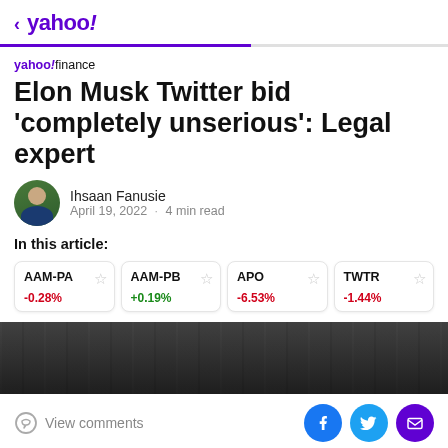< yahoo!
yahoo!finance
Elon Musk Twitter bid 'completely unserious': Legal expert
Ihsaan Fanusie
April 19, 2022 · 4 min read
In this article:
| Ticker | Change |
| --- | --- |
| AAM-PA | -0.28% |
| AAM-PB | +0.19% |
| APO | -6.53% |
| TWTR | -1.44% |
[Figure (photo): Dark background photo strip showing partial image]
View comments